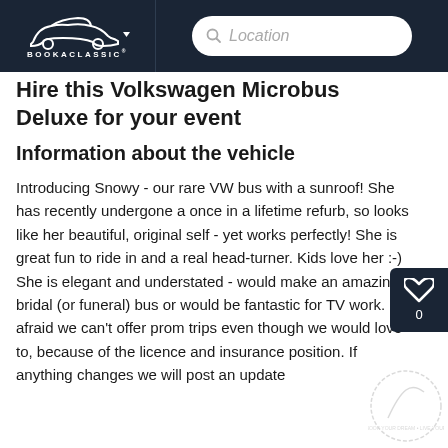BookAClassic — Location search bar
Hire this Volkswagen Microbus Deluxe for your event
Information about the vehicle
Introducing Snowy - our rare VW bus with a sunroof! She has recently undergone a once in a lifetime refurb, so looks like her beautiful, original self - yet works perfectly! She is great fun to ride in and a real head-turner. Kids love her :-) She is elegant and understated - would make an amazing bridal (or funeral) bus or would be fantastic for TV work. I'm afraid we can't offer prom trips even though we would love to, because of the licence and insurance position. If anything changes we will post an update